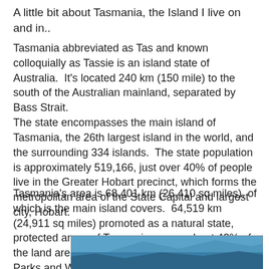A little bit about Tasmania, the Island I live on and in..
Tasmania abbreviated as Tas and known colloquially as Tassie is an island state of Australia.  It's located 240 km (150 mile) to the south of the Australian mainland, separated by Bass Strait.
The state encompasses the main island of Tasmania, the 26th largest island in the world, and the surrounding 334 islands.  The state population is approximately 519,166, just over 40% of people live in the Greater Hobart precinct, which forms the metropolitan area of the State Capital and largest city, Hobart.
Tasmania's area is 68,401 km (26,410 sq miles), of which is the main island covers.  64,519 km (24,911 sq miles) promoted as a natural state, protected areas of Tasmania covers about 42% of the land area of the state, which includes National Parks and World Heritage Sites.
Wikipedia..
[Figure (photo): Partial image of what appears to be a photograph, possibly showing Tasmania or a related scene, with a blue sky or water visible.]